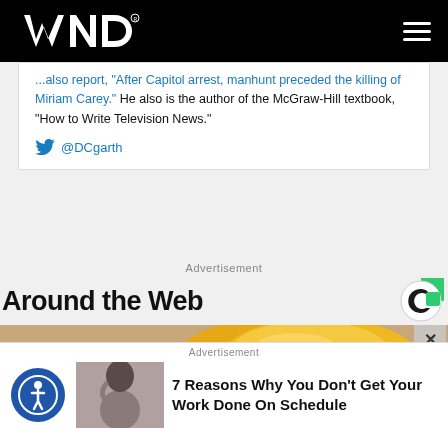WND
...also report, "After Capitol arrest, manhunt preceded killing of Miriam Carey." He also is the author of the McGraw-Hill textbook, "How to Write Television News."
@DCgarth
Advertisement
Around the Web
[Figure (photo): Bowl of yellow spice (turmeric) in a colorful decorative bowl]
Advertisement
7 Reasons Why You Don't Get Your Work Done On Schedule